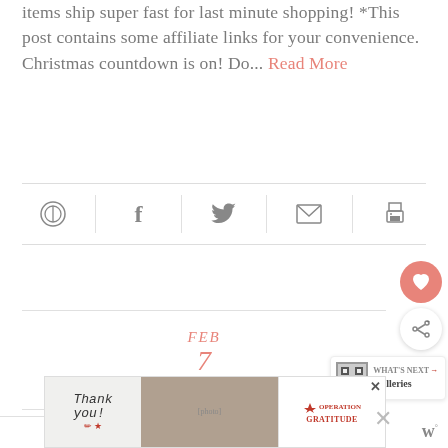items ship super fast for last minute shopping! *This post contains some affiliate links for your convenience. Christmas countdown is on! Do... Read More
[Figure (infographic): Social sharing icons row: Pinterest, Facebook, Twitter, Email, Print]
[Figure (infographic): Floating heart (like) button and share button on the right side]
FEB
7
2019
0
[Figure (infographic): What's Next box showing a QR code thumbnail and text 'WHAT'S NEXT → Galleries']
[Figure (infographic): Operation Gratitude advertisement banner with 'Thank you!' text and military imagery]